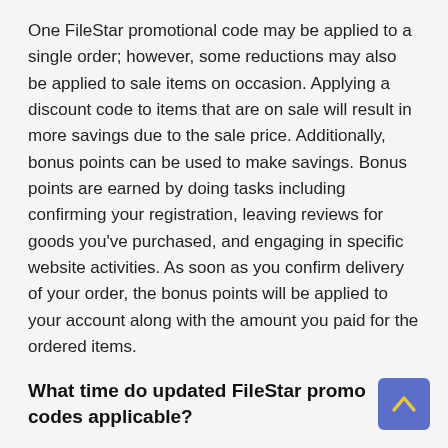One FileStar promotional code may be applied to a single order; however, some reductions may also be applied to sale items on occasion. Applying a discount code to items that are on sale will result in more savings due to the sale price. Additionally, bonus points can be used to make savings. Bonus points are earned by doing tasks including confirming your registration, leaving reviews for goods you've purchased, and engaging in specific website activities. As soon as you confirm delivery of your order, the bonus points will be applied to your account along with the amount you paid for the ordered items.
What time do updated FileStar promo codes applicable?
When Festivals, Seasonal Events, Anniversary Events, and so on come, we will collect the most recent coupon code that is valid across the entire network. In order for you to profit the most from it, we offer the most recent